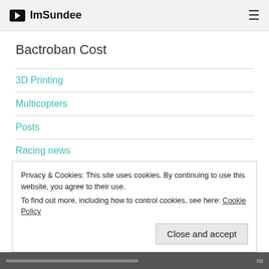ImSundee
Bactroban Cost
3D Printing
Multicopters
Posts
Racing news
Youtube
Privacy & Cookies: This site uses cookies. By continuing to use this website, you agree to their use.
To find out more, including how to control cookies, see here: Cookie Policy
Close and accept